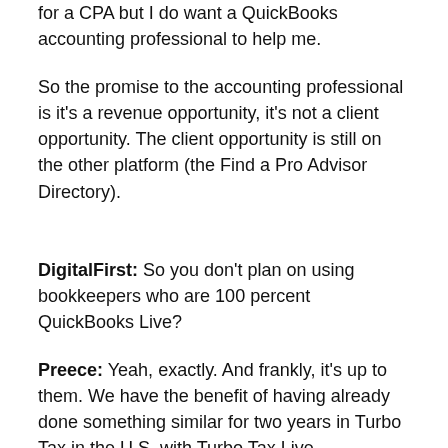for a CPA but I do want a QuickBooks accounting professional to help me.
So the promise to the accounting professional is it's a revenue opportunity, it's not a client opportunity. The client opportunity is still on the other platform (the Find a Pro Advisor Directory).
DigitalFirst: So you don't plan on using bookkeepers who are 100 percent QuickBooks Live?
Preece: Yeah, exactly. And frankly, it's up to them. We have the benefit of having already done something similar for two years in Turbo Tax in the U.S. with Turbo Tax Live.